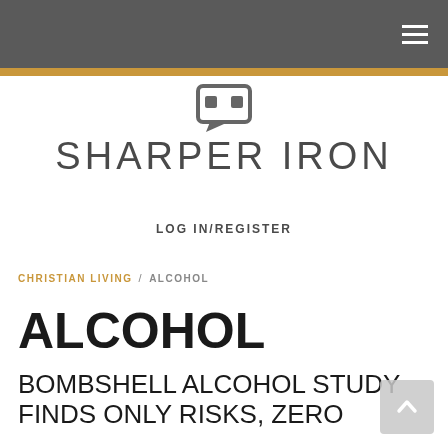SHARPER IRON — navigation header
[Figure (logo): Sharper Iron site logo icon (speech bubble style icon) and site name SHARPER IRON]
LOG IN/REGISTER
CHRISTIAN LIVING / ALCOHOL
ALCOHOL
BOMBSHELL ALCOHOL STUDY FINDS ONLY RISKS, ZERO